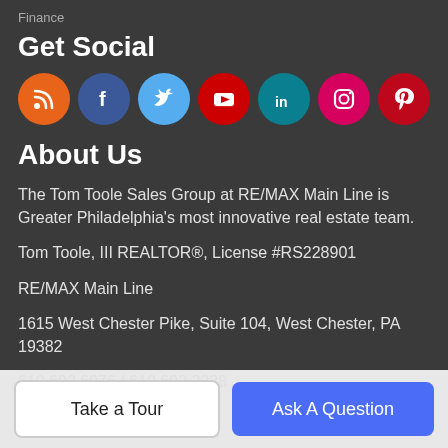Finance
Get Social
[Figure (infographic): Seven social media icons in colored circles: RSS (orange), Facebook (dark blue), Twitter (light blue), YouTube (red), LinkedIn (teal), Instagram (magenta/pink), Pinterest (red)]
About Us
The Tom Toole Sales Group at RE/MAX Main Line is Greater Philadelphia's most innovative real estate team.
Tom Toole, III REALTOR®, License #RS228901
RE/MAX Main Line
1615 West Chester Pike, Suite 104, West Chester, PA 19382
610.692.6976 / 610.692.2228
Take a Tour
Ask A Question